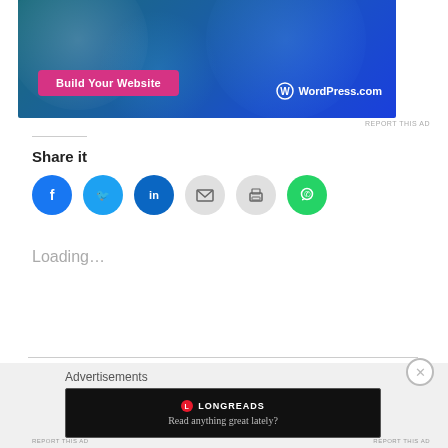[Figure (screenshot): WordPress.com advertisement banner with blue gradient background, 'Build Your Website' pink button, and WordPress.com logo]
REPORT THIS AD
Share it
[Figure (infographic): Social sharing icons: Facebook (blue), Twitter (cyan), LinkedIn (dark blue), Email (gray), Print (gray), WhatsApp (green)]
Loading…
Advertisements
[Figure (screenshot): Longreads advertisement: black box with Longreads logo and text 'Read anything great lately?']
REPORT THIS AD
REPORT THIS AD